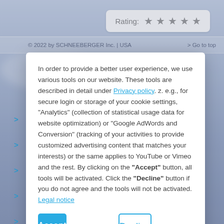[Figure (screenshot): Website background with bluish-grey gradient, rating widget with 5 stars in top right, navigation bar, and sidebar navigation arrows on the left.]
In order to provide a better user experience, we use various tools on our website. These tools are described in detail under Privacy policy. z. e.g., for secure login or storage of your cookie settings, "Analytics" (collection of statistical usage data for website optimization) or "Google AdWords and Conversion" (tracking of your activities to provide customized advertising content that matches your interests) or the same applies to YouTube or Vimeo and the rest. By clicking on the "Accept" button, all tools will be activated. Click the "Decline" button if you do not agree and the tools will not be activated. Legal notice
Accept
Decline